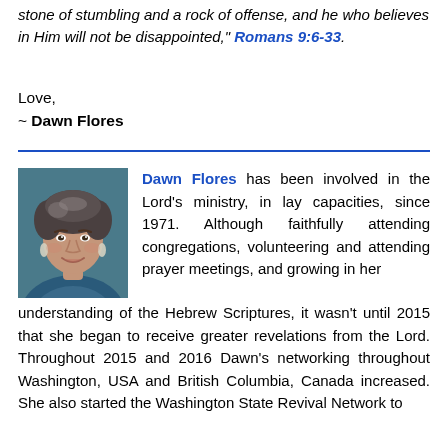stone of stumbling and a rock of offense, and he who believes in Him will not be disappointed," Romans 9:6-33.
Love,
~ Dawn Flores
[Figure (photo): Portrait photo of Dawn Flores, a woman with short dark hair, smiling, wearing a blue top and earrings.]
Dawn Flores has been involved in the Lord's ministry, in lay capacities, since 1971. Although faithfully attending congregations, volunteering and attending prayer meetings, and growing in her understanding of the Hebrew Scriptures, it wasn't until 2015 that she began to receive greater revelations from the Lord. Throughout 2015 and 2016 Dawn's networking throughout Washington, USA and British Columbia, Canada increased. She also started the Washington State Revival Network to